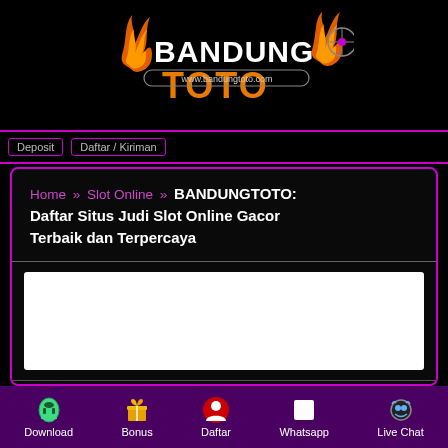[Figure (logo): BANDUNGTOTO logo with flame icons and www.bandungtoto.com URL text on black background]
Deposit   Daftar / Kiriman
Home » Slot Online » BANDUNGTOTO: Daftar Situs Judi Slot Online Gacor Terbaik dan Terpercaya
[Figure (photo): White banner/image area (content not visible)]
BANDUNGTOTO: Daftar Situs Judi
Download   Bonus   Daftar   Whatsapp   Live Chat